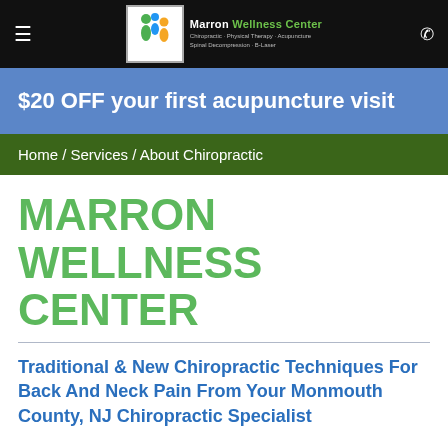Marron Wellness Center — Chiropractic · Physical Therapy · Acupuncture · Spinal Decompression · B-Laser
$20 OFF your first acupuncture visit
Home / Services / About Chiropractic
MARRON WELLNESS CENTER
Traditional & New Chiropractic Techniques For Back And Neck Pain From Your Monmouth County, NJ Chiropractic Specialist